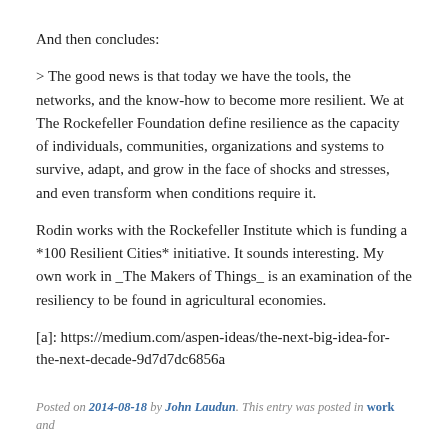And then concludes:
> The good news is that today we have the tools, the networks, and the know-how to become more resilient. We at The Rockefeller Foundation define resilience as the capacity of individuals, communities, organizations and systems to survive, adapt, and grow in the face of shocks and stresses, and even transform when conditions require it.
Rodin works with the Rockefeller Institute which is funding a *100 Resilient Cities* initiative. It sounds interesting. My own work in _The Makers of Things_ is an examination of the resiliency to be found in agricultural economies.
[a]: https://medium.com/aspen-ideas/the-next-big-idea-for-the-next-decade-9d7d7dc6856a
Posted on 2014-08-18 by John Laudun. This entry was posted in work and